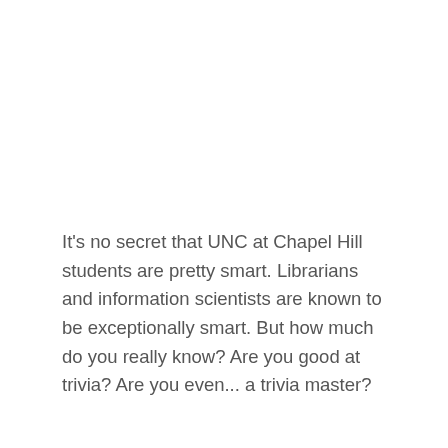It's no secret that UNC at Chapel Hill students are pretty smart. Librarians and information scientists are known to be exceptionally smart. But how much do you really know? Are you good at trivia? Are you even... a trivia master?